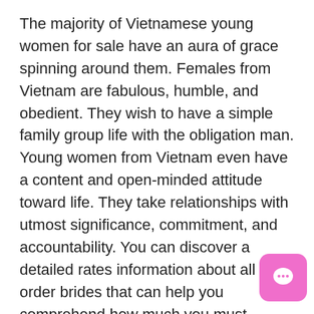The majority of Vietnamese young women for sale have an aura of grace spinning around them. Females from Vietnam are fabulous, humble, and obedient. They wish to have a simple family group life with the obligation man. Young women from Vietnam even have a content and open-minded attitude toward life. They take relationships with utmost significance, commitment, and accountability. You can discover a detailed rates information about all mail order brides that can help you comprehend how much you must spend.
Vietnam brides will usually know how to make the temper. Their brilliant “shiny smile” will disappear all of the issues away. Sufficient reason for a lady such as this next for you, there will always be positive en and you'll feel uplifted and able to just about